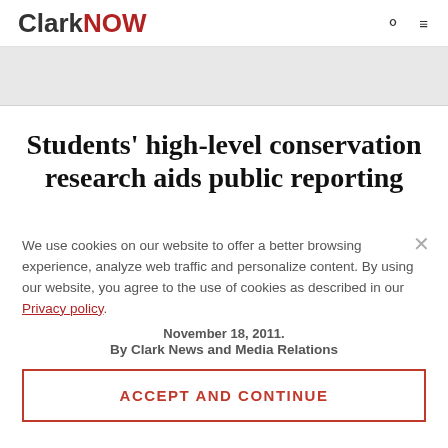ClarkNOW
[Figure (photo): Gray banner/image placeholder area below the header navigation]
Students' high-level conservation research aids public reporting
We use cookies on our website to offer a better browsing experience, analyze web traffic and personalize content. By using our website, you agree to the use of cookies as described in our Privacy policy.
November 18, 2011.
By Clark News and Media Relations
ACCEPT AND CONTINUE